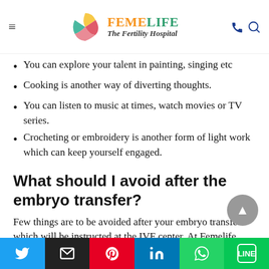FEMELIFE The Fertility Hospital
You can explore your talent in painting, singing etc
Cooking is another way of diverting thoughts.
You can listen to music at times, watch movies or TV series.
Crocheting or embroidery is another form of light work which can keep yourself engaged.
What should I avoid after the embryo transfer?
Few things are to be avoided after your embryo transfer which will be instructed at the IVF center. At Femelife
Share buttons: Twitter, Email, Pinterest, LinkedIn, WhatsApp, LINE